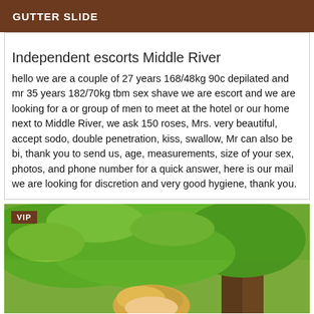GUTTER SLIDE
Independent escorts Middle River
hello we are a couple of 27 years 168/48kg 90c depilated and mr 35 years 182/70kg tbm sex shave we are escort and we are looking for a or group of men to meet at the hotel or our home next to Middle River, we ask 150 roses, Mrs. very beautiful, accept sodo, double penetration, kiss, swallow, Mr can also be bi, thank you to send us, age, measurements, size of your sex, photos, and phone number for a quick answer, here is our mail we are looking for discretion and very good hygiene, thank you.
[Figure (photo): Outdoor photo showing a person with blonde hair in front of a tree with green foliage, with a VIP badge overlay in the top-left corner.]